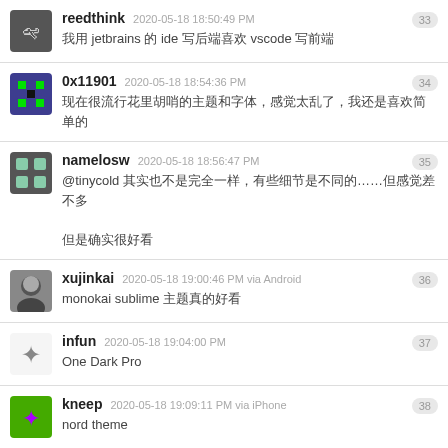reedthink  2020-05-18 18:50:49 PM  [CJK] jetbrains [CJK] ide [CJK] vscode [CJK]
0x11901  2020-05-18 18:54:36 PM  [CJK text]
namelosw  2020-05-18 18:56:47 PM  @tinycold [CJK]......[CJK]  [CJK]
xujinkai  2020-05-18 19:00:46 PM via Android  monokai sublime [CJK]
infun  2020-05-18 19:04:00 PM  One Dark Pro
kneep  2020-05-18 19:09:11 PM via iPhone  nord theme
9yu  2020-05-18 19:09:35 PM via Android  [CJK]